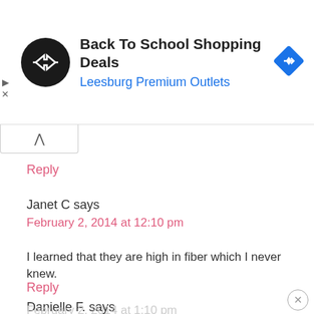[Figure (screenshot): Ad banner for Back To School Shopping Deals at Leesburg Premium Outlets, with circular black logo with double-arrow icon and a blue diamond navigation icon on the right.]
Reply
Janet C says
February 2, 2014 at 12:10 pm
I learned that they are high in fiber which I never knew.
Reply
Danielle F. says
February 2, 2014 at 1:10 pm